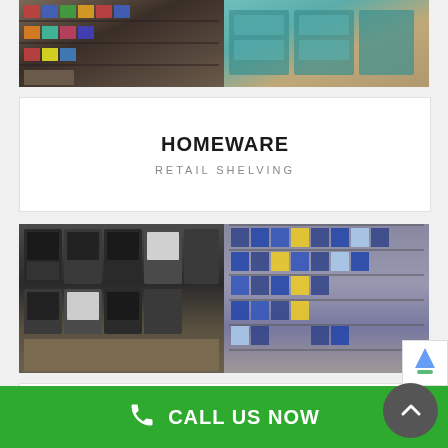[Figure (photo): Two retail store interior photos side by side showing homeware product shelving with colorful packaged goods on the left and teal-colored display units on the right]
HOMEWARE
RETAIL SHELVING
[Figure (photo): Two retail store interior photos side by side showing electrical appliances (ovens/cookers) on display shelving on the left and rows of packaged electrical products on shelves on the right]
ELECTRICAL SOUND & VISION
RETAIL SHELVING
CALL US NOW